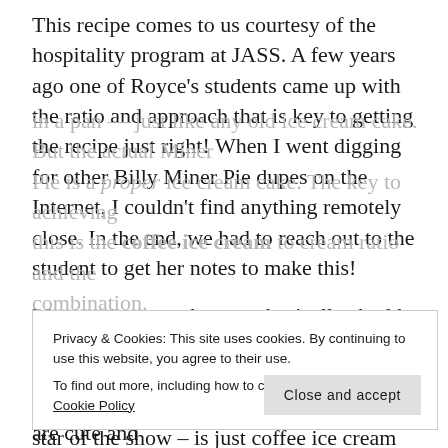This recipe comes to us courtesy of the hospitality program at JASS. A few years ago one of Royce's students came up with the ratio and approach that is key to getting the recipe just right! When I went digging for other Billy Miner Pie dupes on the Internet, I couldn't find anything remotely close. In the end, we had to reach out to the student to get her notes to make this!
Most recipes out there are basically shoddy versions of ice cream cake: they call for some kind of crust, the chocolate-caramel-almond topping, but the filling itself – the star of the show – is just coffee ice cream smooshed
Privacy & Cookies: This site uses cookies. By continuing to use this website, you agree to their use.
To find out more, including how to control cookies, see here: Cookie Policy
Close and accept
The recipe as follows is scaled to yield 3 mini more-pies (done in 4" springform pans) because they are cute and